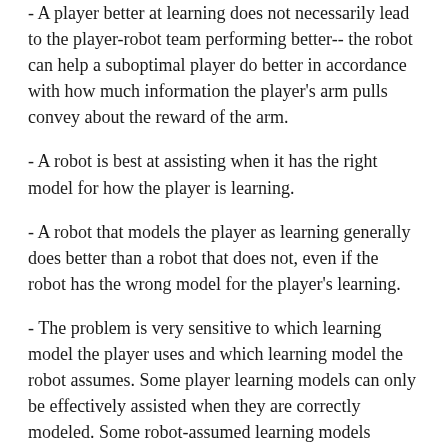- A player better at learning does not necessarily lead to the player-robot team performing better-- the robot can help a suboptimal player do better in accordance with how much information the player's arm pulls convey about the reward of the arm.
- A robot is best at assisting when it has the right model for how the player is learning.
- A robot that models the player as learning generally does better than a robot that does not, even if the robot has the wrong model for the player's learning.
- The problem is very sensitive to which learning model the player uses and which learning model the robot assumes. Some player learning models can only be effectively assisted when they are correctly modeled. Some robot-assumed learning models effectively assist for a variety of actual player learning models.